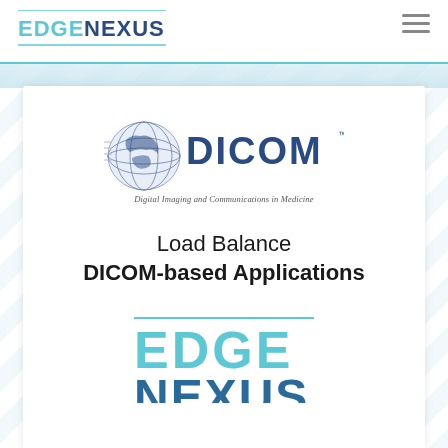[Figure (logo): EdgeNexus logo in top-left header — EDGE in light blue, NEXUS in dark blue, with horizontal lines above and below]
[Figure (logo): DICOM logo — globe icon with DICOM wordmark and tagline 'Digital Imaging and Communications in Medicine']
Load Balance DICOM-based Applications
[Figure (logo): EdgeNexus logo (large, partial) — EDGE in blue with horizontal rule above, NEXUS below, cut off at bottom of page]